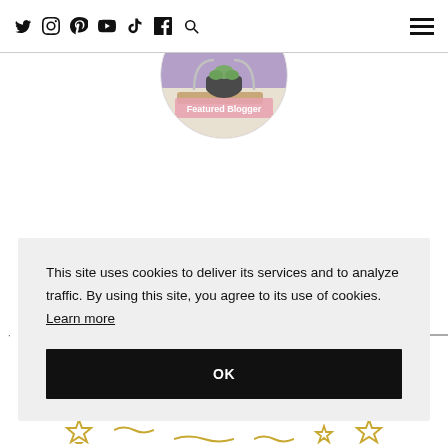Social media navigation icons: Twitter, Instagram, Pinterest, YouTube, TikTok, Facebook, Search, Hamburger menu
[Figure (photo): Circular featured blogger badge with photo of a succulent plant in a dark pot on a wooden tray, with purple background, and 'Featured Blogger' label overlaid]
This site uses cookies to deliver its services and to analyze traffic. By using this site, you agree to its use of cookies. Learn more
OK